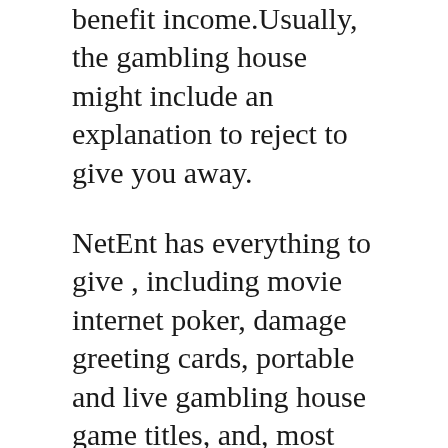benefit income.Usually, the gambling house might include an explanation to reject to give you away.
NetEnt has everything to give , including movie internet poker, damage greeting cards, portable and live gambling house game titles, and, most importantly, video poker machines. If you want to have activities, you possess to download these spots into your mobile mobile then. The result is that these multi-line slot products produce more enjoyment and are highly preferred